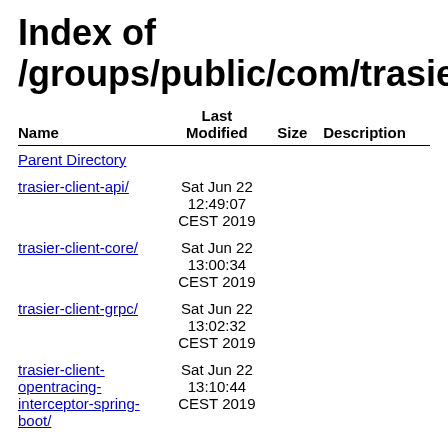Index of /groups/public/com/trasier
| Name | Last Modified | Size | Description |
| --- | --- | --- | --- |
| Parent Directory |  |  |  |
| trasier-client-api/ | Sat Jun 22 12:49:07 CEST 2019 |  |  |
| trasier-client-core/ | Sat Jun 22 13:00:34 CEST 2019 |  |  |
| trasier-client-grpc/ | Sat Jun 22 13:02:32 CEST 2019 |  |  |
| trasier-client-opentracing-interceptor-spring-boot/ | Sat Jun 22 13:10:44 CEST 2019 |  |  |